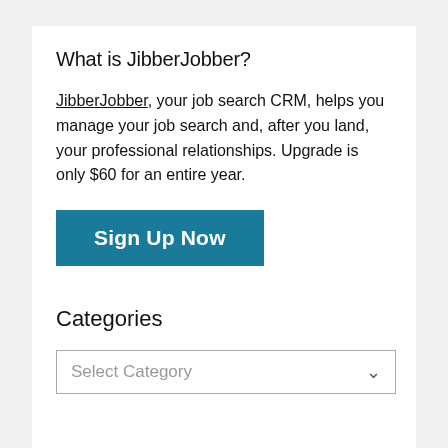What is JibberJobber?
JibberJobber, your job search CRM, helps you manage your job search and, after you land, your professional relationships. Upgrade is only $60 for an entire year.
[Figure (other): Blue 'Sign Up Now' button]
Categories
[Figure (other): Dropdown select box with placeholder 'Select Category']